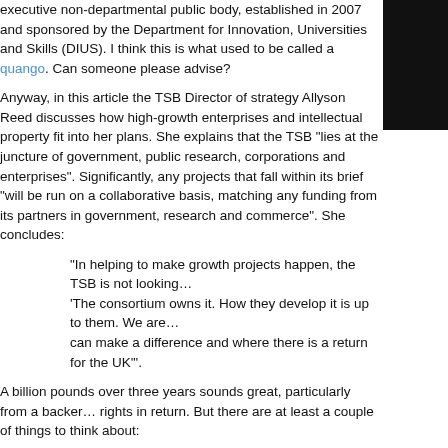executive non-departmental public body, established in 2007 and sponsored by the Department for Innovation, Universities and Skills (DIUS). I think this is what used to be called a quango. Can someone please advise?
Anyway, in this article the TSB Director of strategy Allyson Reed discusses how high-growth enterprises and intellectual property fit into her plans. She explains that the TSB "lies at the juncture of government, public research, corporations and enterprises". Significantly, any projects that fall within its brief "will be run on a collaborative basis, matching any funding from its partners in government, research and commerce". She concludes:
"In helping to make growth projects happen, the TSB is not looking to own IP. 'The consortium owns it. How they develop it is up to them. We are looking where we can make a difference and where there is a return for the UK'".
A billion pounds over three years sounds great, particularly from a backer who wants no rights in return. But there are at least a couple of things to think about:
* How easy will it be for potential applicants for funding and support to understand and satisfy the formal criteria? If at the end of three years much of the billion pounds remains unallocated, we may have an answer to those questions.
* Are there any hidden issues of EU competition law? The Commission is not fond of state subsidies in supposedly open commercial sectors?